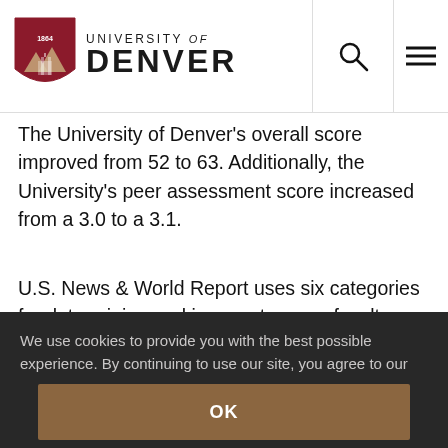University of Denver
The University of Denver's overall score improved from 52 to 63. Additionally, the University's peer assessment score increased from a 3.0 to a 3.1.
U.S. News & World Report uses six categories for determining rankings: outcomes, faculty resources,
We use cookies to provide you with the best possible experience. By continuing to use our site, you agree to our use of cookies. Privacy information.
OK